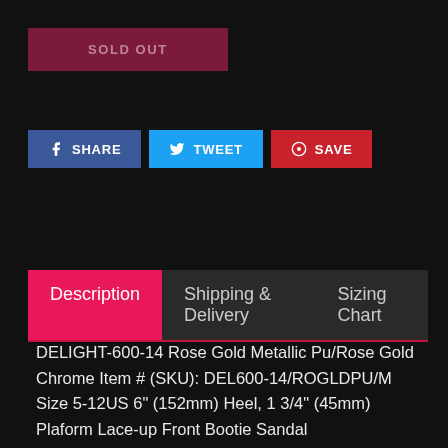SOLD OUT
[Figure (other): Social sharing buttons: SHARE (Facebook), TWEET (Twitter), SAVE (Pinterest)]
Description | Shipping & Delivery | Sizing Chart
DELIGHT-600-14 Rose Gold Metallic Pu/Rose Gold Chrome Item # (SKU): DEL600-14/ROGLDPU/M Size 5-12US 6" (152mm) Heel, 1 3/4" (45mm) Plaform Lace-up Front Bootie Sandal